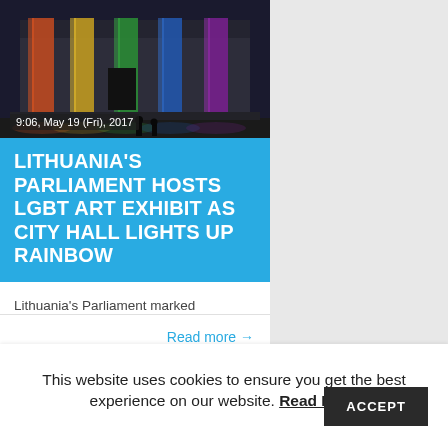[Figure (photo): Nighttime photo of a neoclassical building with large white columns illuminated by rainbow-colored lights (red, yellow, green, blue, purple). Steps in foreground with silhouettes of people.]
9:06, May 19 (Fri), 2017
LITHUANIA'S PARLIAMENT HOSTS LGBT ART EXHIBIT AS CITY HALL LIGHTS UP RAINBOW
Lithuania's Parliament marked the International Day Against
Read more →
This website uses cookies to ensure you get the best experience on our website. Read More ACCEPT